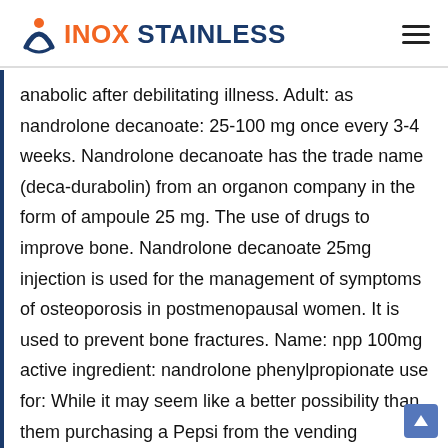INOX STAINLESS
anabolic after debilitating illness. Adult: as nandrolone decanoate: 25-100 mg once every 3-4 weeks. Nandrolone decanoate has the trade name (deca-durabolin) from an organon company in the form of ampoule 25 mg. The use of drugs to improve bone. Nandrolone decanoate 25mg injection is used for the management of symptoms of osteoporosis in postmenopausal women. It is used to prevent bone fractures. Name: npp 100mg active ingredient: nandrolone phenylpropionate use for: While it may seem like a better possibility than them purchasing a Pepsi from the vending machine, that is far from the reality, nandrolone decanoate uses. Currently playing: